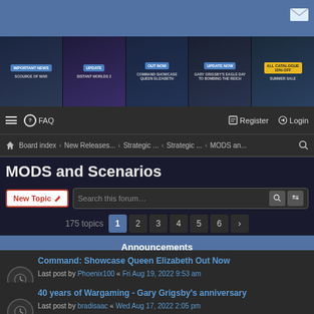[Figure (screenshot): Website top blue banner with envelope icon]
[Figure (screenshot): Promotional image strip with 5 tiles: IMPORTANT NEWS - SCOURGE OF WAR, UPDATE - DISTANT WORLDS 2, OUT NOW - COMMAND SHOWCASE QUEEN ELIZABETH, UPDATE NOW - GARY GRIGSBY'S EAGLE DAY TO BOMBING THE REICH, ALL CATALOGUE 10% OFF - SUMMER SALE]
FAQ   Register   Login
Board index › New Releases... › Strategic ... › Strategic ... › MODS an...
MODS and Scenarios
New Topic   Search this forum…   175 topics  1  2  3  4  5  6  >
Announcements
Command: Showcase Queen Elizabeth Out Now
Last post by Phoenix100 « Fri Aug 19, 2022 9:53 am
Posted in Command: Modern Operations series
Replies: 10
40 years of Wargaming - Gary Grigsby's anniversary
Last post by bradisaac « Wed Aug 17, 2022 2:05 pm
Posted in Press Releases, News and Events from Matrix
Replies: 23